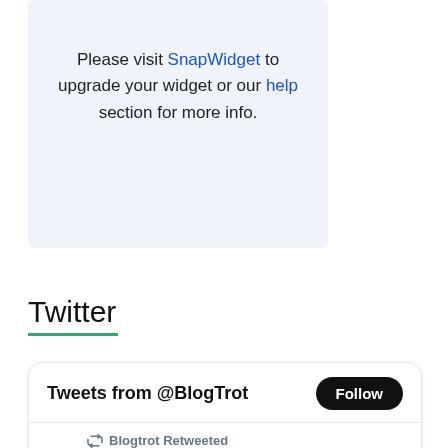Please visit SnapWidget to upgrade your widget or our help section for more info.
Twitter
[Figure (screenshot): Twitter widget showing 'Tweets from @BlogTrot' with a Follow button, and a retweet by Blogtrot of a Surrey RCMP tweet about a missing person named Navdeep Kaur.]